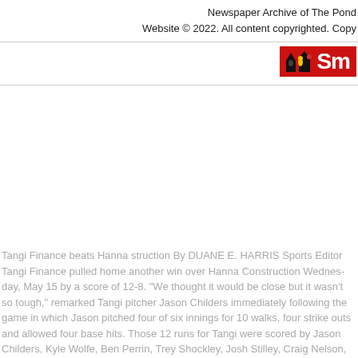Newspaper Archive of The Pond
Website © 2022. All content copyrighted. Copy
[Figure (logo): Red rectangular logo with house/ghost icon and 'Sm' text in white on red background]
Tangi Finance beats Hanna struction By DUANE E. HARRIS Sports Editor Tangi Finance pulled home another win over Hanna Construction Wednes- day, May 15 by a score of 12-8. "We thought it would be close but it wasn&apos;t so tough," remarked Tangi pitcher Jason Childers immediately following the game in which Jason pitched four of six innings for 10 walks, four strike outs and allowed four base hits. Those 12 runs for Tangi were scored by Jason Childers, Kyle Wolfe, Ben Perrin, Trey Shockley, Josh Stilley, Craig Nelson, Jeremy Schnell, Jeff Douglas and Clint Hatfield. At the plate for Tangi Kyle Wolfe, Ben Perrin and Josh Stilley led the team in scoring with two runs each. At two-run at bat Charley...